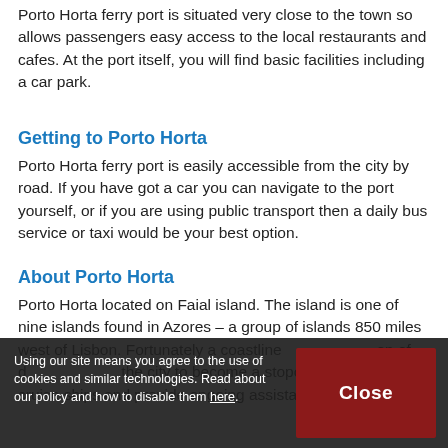Porto Horta ferry port is situated very close to the town so allows passengers easy access to the local restaurants and cafes. At the port itself, you will find basic facilities including a car park.
Getting to Porto Horta
Porto Horta ferry port is easily accessible from the city by road. If you have got a car you can navigate to the port yourself, or if you are using public transport then a daily bus service or taxi would be your best option.
About Porto Horta
Porto Horta located on Faial island. The island is one of nine islands found in Azores – a group of islands 850 miles west of Lisbon. Fortuna is coastline... on of d... the city to become a stopover for yachts, cruise ships and provide ongoing assistance to transatlantic
Using our site means you agree to the use of cookies and similar technologies. Read about our policy and how to disable them here.